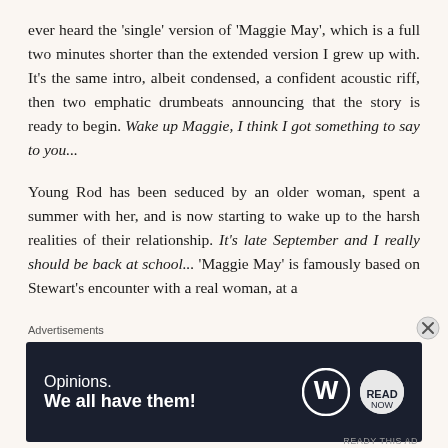ever heard the 'single' version of 'Maggie May', which is a full two minutes shorter than the extended version I grew up with. It's the same intro, albeit condensed, a confident acoustic riff, then two emphatic drumbeats announcing that the story is ready to begin. Wake up Maggie, I think I got something to say to you...
Young Rod has been seduced by an older woman, spent a summer with her, and is now starting to wake up to the harsh realities of their relationship. It's late September and I really should be back at school... 'Maggie May' is famously based on Stewart's encounter with a real woman, at a
Advertisements
[Figure (other): Advertisement banner with dark navy background. Text reads 'Opinions. We all have them!' with WordPress logo and another circular logo on the right.]